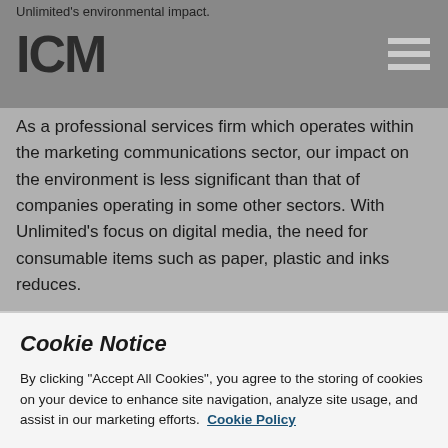Unlimited's environmental impact.
As a professional services firm which operates within the marketing communications sector, our impact on the environment is less significant than that of companies operating in some other sectors. With Unlimited's focus on digital media, the need for consumable items such as paper, plastic and inks reduces.
Unlimited actively seeks to minimise adverse environmental impacts and to promote good environmental practices wherever possible. Some of our initiatives include:
Cookie Notice

By clicking "Accept All Cookies", you agree to the storing of cookies on your device to enhance site navigation, analyze site usage, and assist in our marketing efforts.  Cookie Policy